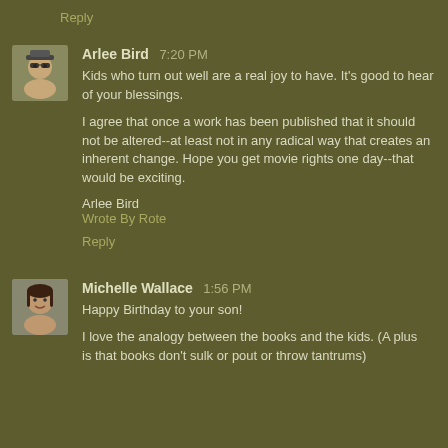Reply
Arlee Bird 7:20 PM
Kids who turn out well are a real joy to have. It's good to hear of your blessings.

I agree that once a work has been published that it should not be altered--at least not in any radical way that creates an inherent change. Hope you get movie rights one day--that would be exciting.

Arlee Bird
Wrote By Rote

Reply
Michelle Wallace 1:56 PM
Happy Birthday to your son!
I love the analogy between the books and the kids. (A plus is that books don't sulk or pout or throw tantrums)